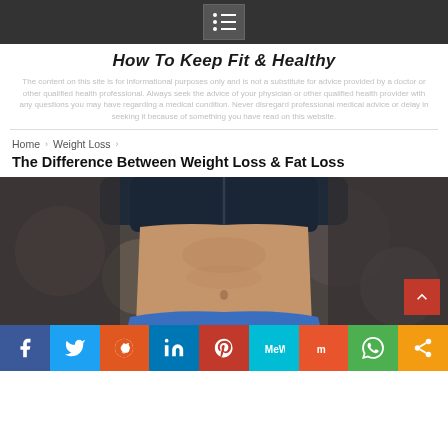How To Keep Fit & Healthy
The content on this site is for informational purposes only and is not a substitute for advice provided by a doctor or other qualified health professional. Always seek the advice of your physician or other qualified health provider with any questions you may have regarding a medical condition. Never disregard professional medical advice or delay in seeking it because of something you have read on this website.
Home › Weight Loss ›
The Difference Between Weight Loss & Fat Loss
[Figure (photo): Close-up photo of a fit woman's midsection showing toned abs, wearing a dark sports bra and blue shorts, against a blurred background.]
Social share buttons: Facebook, Twitter, Reddit, LinkedIn, Pinterest, MeWe, Mix, WhatsApp, Share